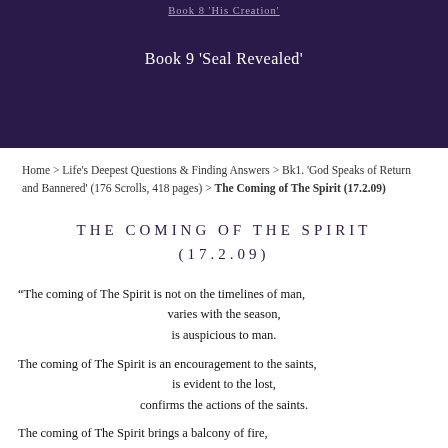Book 8 'His Creation'
Book 9 'Seal Revealed'
Home > Life's Deepest Questions & Finding Answers > Bk1. 'God Speaks of Return and Bannered' (176 Scrolls, 418 pages) > The Coming of The Spirit (17.2.09)
THE COMING OF THE SPIRIT (17.2.09)
“The coming of The Spirit is not on the timelines of man, varies with the season, is auspicious to man. The coming of The Spirit is an encouragement to the saints, is evident to the lost, confirms the actions of the saints. The coming of The Spirit brings a balcony of fire,